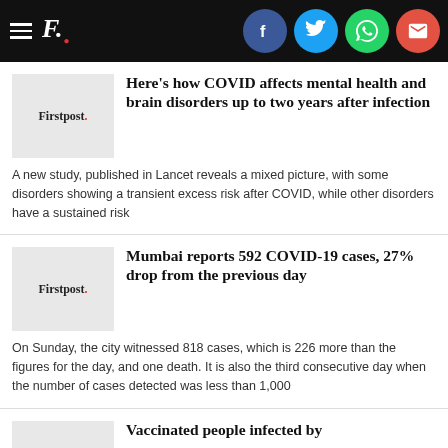Firstpost. [navigation with social icons: Facebook, Twitter, WhatsApp, Email]
Here's how COVID affects mental health and brain disorders up to two years after infection
A new study, published in Lancet reveals a mixed picture, with some disorders showing a transient excess risk after COVID, while other disorders have a sustained risk
Mumbai reports 592 COVID-19 cases, 27% drop from the previous day
On Sunday, the city witnessed 818 cases, which is 226 more than the figures for the day, and one death. It is also the third consecutive day when the number of cases detected was less than 1,000
Vaccinated people infected by